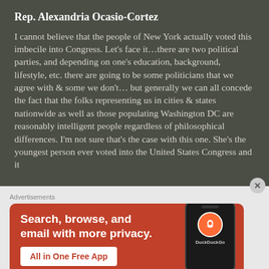Rep. Alexandria Ocasio-Cortez
I cannot believe that the people of New York actually voted this imbecile into Congress. Let’s face it…there are two political parties, and depending on one’s education, background, lifestyle, etc. there are going to be some politicians that we agree with & some we don’t… but generally we can all concede the fact that the folks representing us in cities & states nationwide as well as those populating Washington DC are reasonably intelligent people regardless of philosophical differences. I’m not sure that’s the case with this one. She’s the youngest person ever voted into the United States Congress and it
Advertisements
[Figure (other): DuckDuckGo advertisement banner with orange background showing text 'Search, browse, and email with more privacy. All in One Free App' alongside a phone image with DuckDuckGo logo]